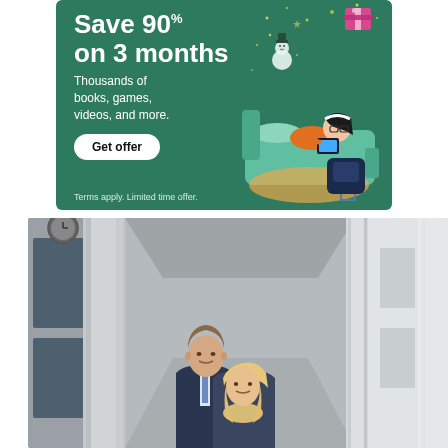[Figure (infographic): Amazon Kids+ advertisement banner on dark green background. Large text reads 'Save 90% on 3 months'. Subtext: 'Thousands of books, games, videos, and more.' White pill-shaped button with bold text 'Get offer'. Disclaimer: 'Terms apply. Limited time offer.' Illustration of a girl lying on a bed reading a tablet, with holiday/winter decorations.]
[Figure (photo): Photograph of two people (a man and a woman) standing in front of a large building with tall stone columns and ornate architecture, likely a courthouse or government building. The corridor has decorative ceiling lights.]